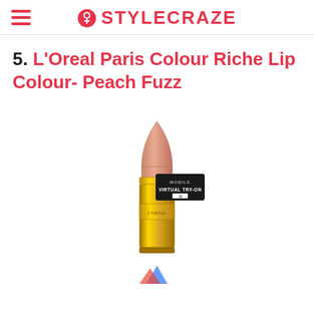STYLECRAZE
5. L'Oreal Paris Colour Riche Lip Colour- Peach Fuzz
[Figure (photo): L'Oreal Paris Colour Riche lipstick in Peach Fuzz shade, shown in a gold tube with the peach-colored bullet extended, and a black 'Mobile Virtual Try-On' badge overlaid on the product.]